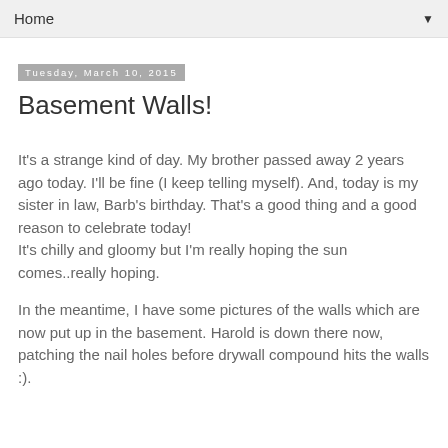Home ▼
Tuesday, March 10, 2015
Basement Walls!
It's a strange kind of day. My brother passed away 2 years ago today. I'll be fine (I keep telling myself). And, today is my sister in law, Barb's birthday. That's a good thing and a good reason to celebrate today!
It's chilly and gloomy but I'm really hoping the sun comes..really hoping.
In the meantime, I have some pictures of the walls which are now put up in the basement. Harold is down there now, patching the nail holes before drywall compound hits the walls :).